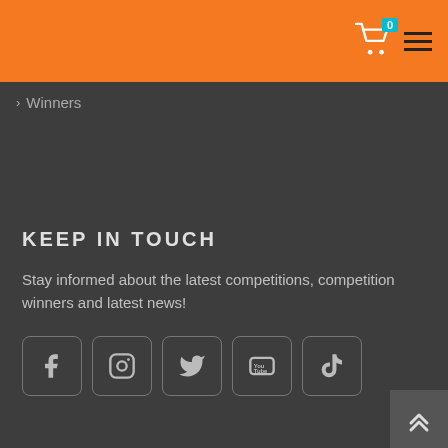0
> Winners
KEEP IN TOUCH
Stay informed about the latest competitions, competition winners and latest news!
[Figure (illustration): Social media icons in rounded square boxes: Facebook, Instagram, Twitter, YouTube, TikTok]